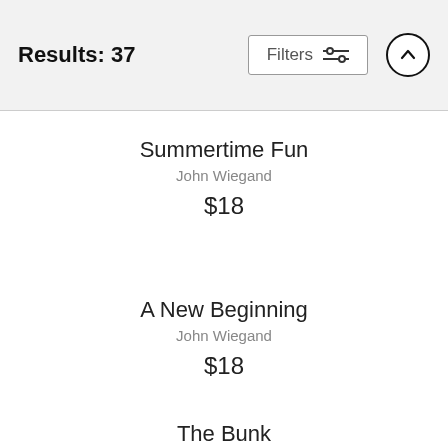Results: 37
Summertime Fun
John Wiegand
$18
A New Beginning
John Wiegand
$18
The Bunk
John Wiegand